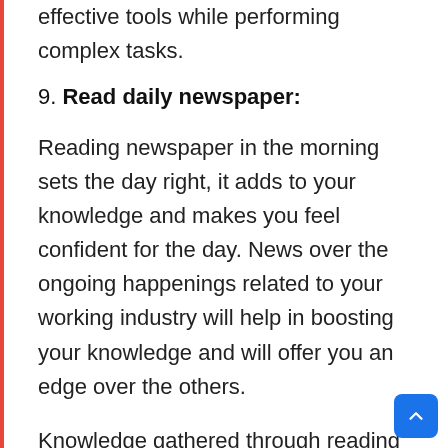effective tools while performing complex tasks.
9. Read daily newspaper:
Reading newspaper in the morning sets the day right, it adds to your knowledge and makes you feel confident for the day. News over the ongoing happenings related to your working industry will help in boosting your knowledge and will offer you an edge over the others.
Knowledge gathered through reading newspapers will impact your decision making